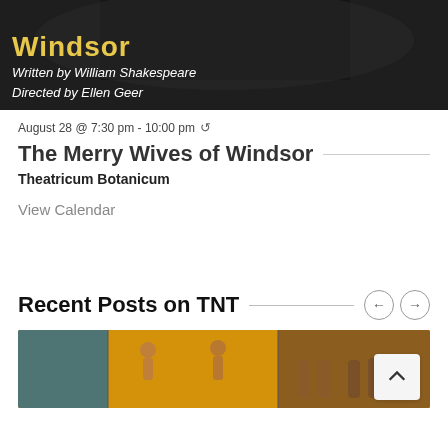[Figure (photo): Black and white film/theater promotional image showing text 'Windsor' in large gold letters, with italic text 'Written by William Shakespeare' and 'Directed by Ellen Geer' overlaid on the image.]
August 28 @ 7:30 pm - 10:00 pm ↺
The Merry Wives of Windsor
Theatricum Botanicum
View Calendar
Recent Posts on TNT
[Figure (photo): Color photograph showing vintage-style illustrations or postcards of people running/racing, and legs of animals or people, with warm orange and yellow tones.]